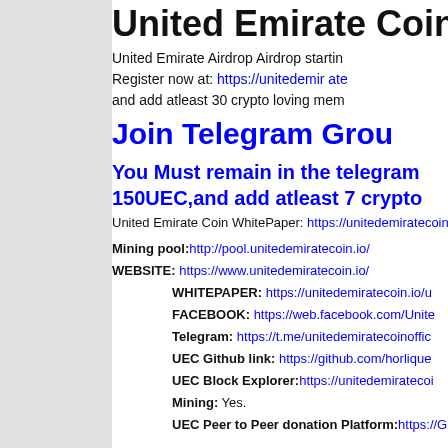United Emirate Coin
United Emirate Airdrop Airdrop starting Register now at: https://unitedemirate and add atleast 30 crypto loving mem
Join Telegram Group
You Must remain in the telegram 150UEC,and add atleast 7 crypto
United Emirate Coin WhitePaper: https://unitedemiratecoin.io/u
Mining pool: http://pool.unitedemiratecoin.io/
WEBSITE: https://www.unitedemiratecoin.io/
WHITEPAPER: https://unitedemiratecoin.io/u
FACEBOOK: https://web.facebook.com/Unite
Telegram: https://t.me/unitedemiratecoinoffic
UEC Github link: https://github.com/horlique
UEC Block Explorer: https://unitedemiratecoi
Mining: Yes.
UEC Peer to Peer donation Platform: https://G